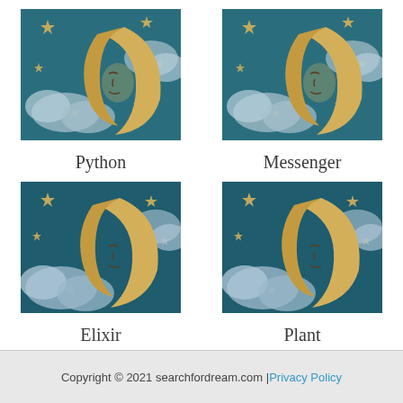[Figure (illustration): Vintage illustration of a crescent moon with a sleeping human face, surrounded by clouds and stars on a teal background]
Python
[Figure (illustration): Vintage illustration of a crescent moon with a sleeping human face, surrounded by clouds and stars on a teal background]
Messenger
[Figure (illustration): Vintage illustration of a crescent moon with a sleeping human face, surrounded by clouds and stars on a teal background]
Elixir
[Figure (illustration): Vintage illustration of a crescent moon with a sleeping human face, surrounded by clouds and stars on a teal background]
Plant
Copyright © 2021 searchfordream.com | Privacy Policy